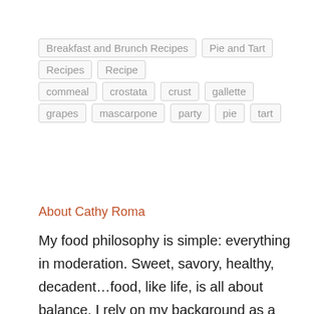Breakfast and Brunch Recipes
Pie and Tart Recipes
Recipe
commeal
crostata
crust
gallette
grapes
mascarpone
party
pie
tart
About Cathy Roma
My food philosophy is simple: everything in moderation. Sweet, savory, healthy, decadent…food, like life, is all about balance. I rely on my background as a